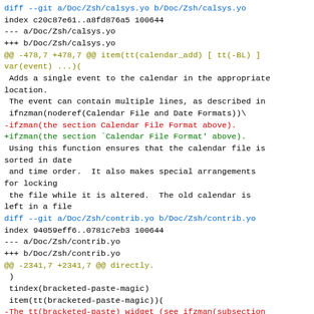diff --git a/Doc/Zsh/calsys.yo b/Doc/Zsh/calsys.yo
index c20c87e61..a8fd876a5 100644
--- a/Doc/Zsh/calsys.yo
+++ b/Doc/Zsh/calsys.yo
@@ -478,7 +478,7 @@ item(tt(calendar_add) [ tt(-BL) ] var(event) ...)(  
 Adds a single event to the calendar in the appropriate location.
 The event can contain multiple lines, as described in ifnzman(noderef(Calendar File and Date Formats))\
-ifzman(the section Calendar File Format above).
+ifzman(the section `Calendar File Format' above).
 Using this function ensures that the calendar file is sorted in date
 and time order.  It also makes special arrangements for locking
 the file while it is altered.  The old calendar is left in a file
diff --git a/Doc/Zsh/contrib.yo b/Doc/Zsh/contrib.yo
index 94059eff6..0781c7eb3 100644
--- a/Doc/Zsh/contrib.yo
+++ b/Doc/Zsh/contrib.yo
@@ -2341,7 +2341,7 @@ directly.
 )
 tindex(bracketed-paste-magic)
 item(tt(bracketed-paste-magic))(
-The tt(bracketed-paste) widget (see ifzman(subsection Miscellaneous in
+The tt(bracketed-paste) widget (see ifzman(the subsection `Miscellaneous' in